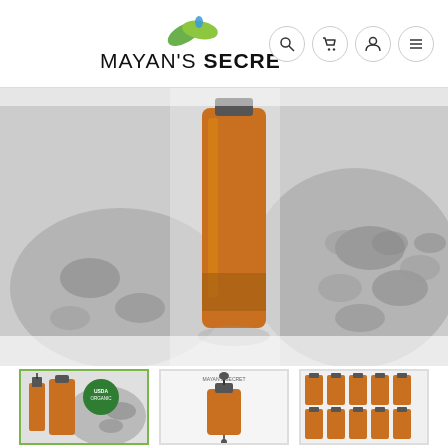[Figure (logo): Mayan's Secret brand logo with green leaf icon and text]
[Figure (photo): Close-up product photo of an amber dropper bottle with black seeds in the background]
[Figure (photo): Thumbnail 1: Product with USDA Organic badge and black seeds]
[Figure (photo): Thumbnail 2: Product bottle with dropper detail]
[Figure (photo): Thumbnail 3: Multiple amber bottles arranged in rows]